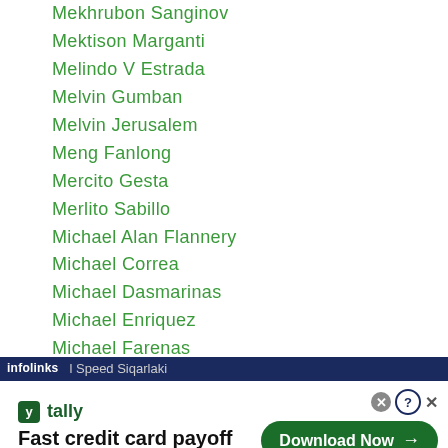Mekhrubon Sanginov
Mektison Marganti
Melindo V Estrada
Melvin Gumban
Melvin Jerusalem
Meng Fanlong
Mercito Gesta
Merlito Sabillo
Michael Alan Flannery
Michael Correa
Michael Dasmarinas
Michael Enriquez
Michael Farenas
Michael Landero
Michael Mendoza
l Speed Siqarlaki
[Figure (screenshot): Advertisement banner for Tally app - Fast credit card payoff with Download Now button]